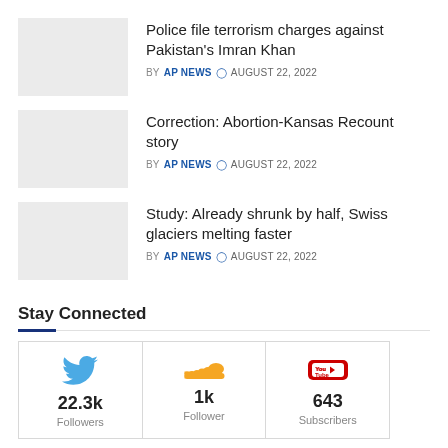Police file terrorism charges against Pakistan's Imran Khan — BY AP NEWS — AUGUST 22, 2022
Correction: Abortion-Kansas Recount story — BY AP NEWS — AUGUST 22, 2022
Study: Already shrunk by half, Swiss glaciers melting faster — BY AP NEWS — AUGUST 22, 2022
Stay Connected
[Figure (infographic): Social media follower counts: Twitter 22.3k Followers, SoundCloud 1k Follower, YouTube 643 Subscribers]